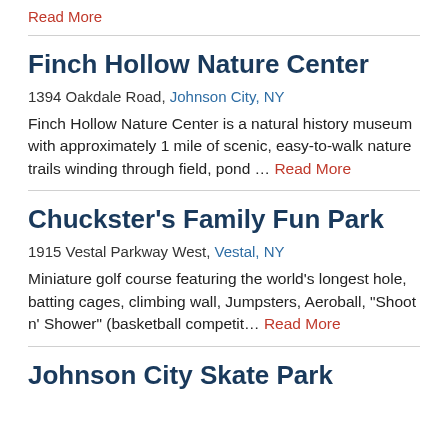Read More
Finch Hollow Nature Center
1394 Oakdale Road, Johnson City, NY
Finch Hollow Nature Center is a natural history museum with approximately 1 mile of scenic, easy-to-walk nature trails winding through field, pond … Read More
Chuckster's Family Fun Park
1915 Vestal Parkway West, Vestal, NY
Miniature golf course featuring the world's longest hole, batting cages, climbing wall, Jumpsters, Aeroball, "Shoot n' Shower" (basketball competit… Read More
Johnson City Skate Park